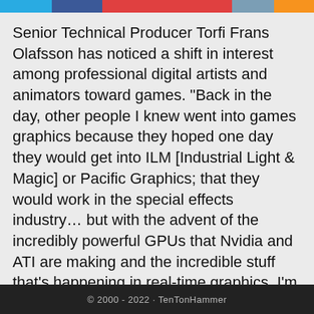[Figure (other): Colored social media share bar with Twitter blue, Facebook blue, red, red, grey-blue, and orange segments]
Senior Technical Producer Torfi Frans Olafsson has noticed a shift in interest among professional digital artists and animators toward games. "Back in the day, other people I knew went into games graphics because they hoped one day they would get into ILM [Industrial Light & Magic] or Pacific Graphics; that they would work in the special effects industry... but with the advent of the incredibly powerful GPUs that Nvidia and ATI are making and the incredible stuff that's happening in real-time graphics, I'm seeing more and more people coming from film and television and into games... because that's where the
Our website uses cookies and by using the site you agree to this. Learn more about cookies.
Close
© 2000 - 2022 · TenTonHammer